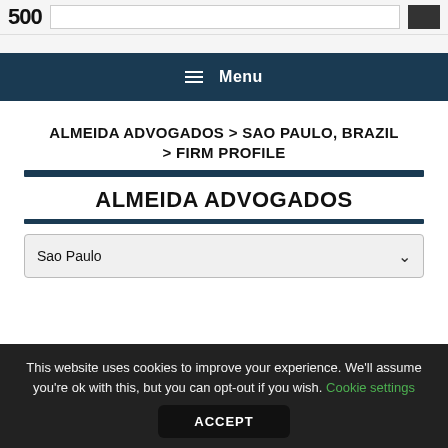500 [logo] | search bar
≡ Menu
ALMEIDA ADVOGADOS > SAO PAULO, BRAZIL > FIRM PROFILE
ALMEIDA ADVOGADOS
Sao Paulo
This website uses cookies to improve your experience. We'll assume you're ok with this, but you can opt-out if you wish. Cookie settings ACCEPT